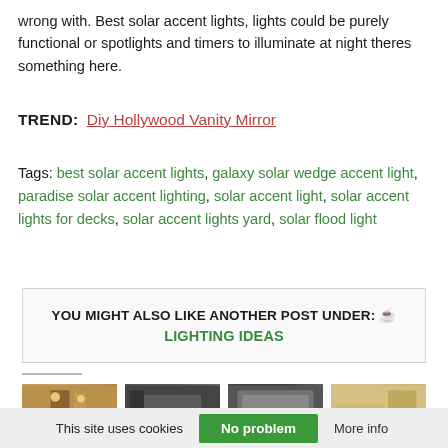wrong with. Best solar accent lights, lights could be purely functional or spotlights and timers to illuminate at night theres something here.
TREND:  Diy Hollywood Vanity Mirror
Tags: best solar accent lights, galaxy solar wedge accent light, paradise solar accent lighting, solar accent light, solar accent lights for decks, solar accent lights yard, solar flood light
YOU MIGHT ALSO LIKE ANOTHER POST UNDER: ☕ LIGHTING IDEAS
[Figure (photo): Four small thumbnail images of lighting-related rooms in a horizontal row]
This site uses cookies   No problem   More info